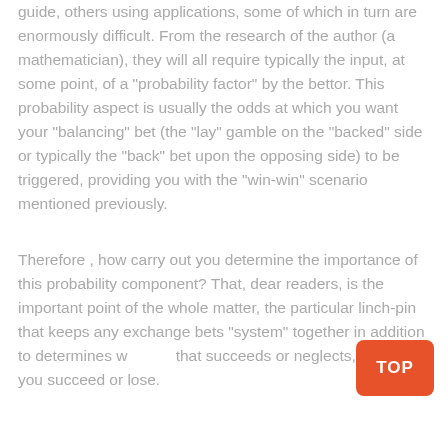guide, others using applications, some of which in turn are enormously difficult. From the research of the author (a mathematician), they will all require typically the input, at some point, of a "probability factor" by the bettor. This probability aspect is usually the odds at which you want your "balancing" bet (the "lay" gamble on the "backed" side or typically the "back" bet upon the opposing side) to be triggered, providing you with the "win-win" scenario mentioned previously.
Therefore , how carry out you determine the importance of this probability component? That, dear readers, is the important point of the whole matter, the particular linch-pin that keeps any exchange bets "system" together in addition to determines whether that succeeds or neglects, whether you succeed or lose.